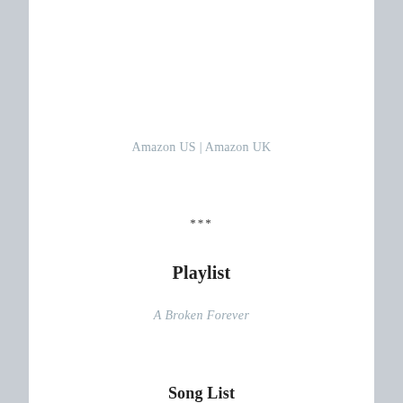Amazon US | Amazon UK
***
Playlist
A Broken Forever
Song List